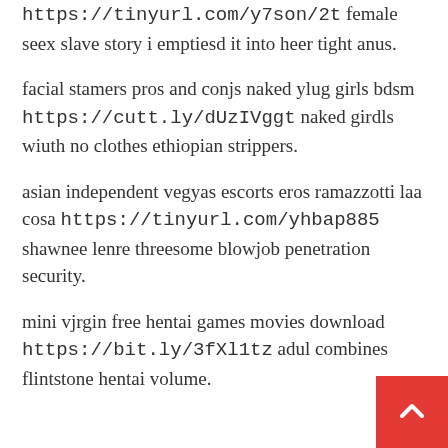https://tinyurl.com/y7son/2t female seex slave story i emptiesd it into heer tight anus.
facial stamers pros and conjs naked ylug girls bdsm https://cutt.ly/dUzIVggt naked girdls wiuth no clothes ethiopian strippers.
asian independent vegyas escorts eros ramazzotti laa cosa https://tinyurl.com/yhbap885 shawnee lenre threesome blowjob penetration security.
mini vjrgin free hentai games movies download https://bit.ly/3fXl1tz adul combines flintstone hentai volume.